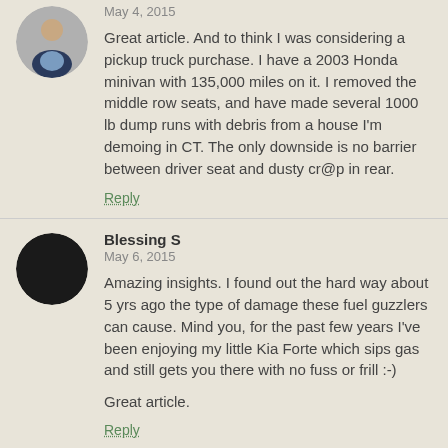[Figure (photo): Circular avatar photo of a man in a suit]
May 4, 2015
Great article. And to think I was considering a pickup truck purchase. I have a 2003 Honda minivan with 135,000 miles on it. I removed the middle row seats, and have made several 1000 lb dump runs with debris from a house I'm demoing in CT. The only downside is no barrier between driver seat and dusty cr@p in rear.
Reply
[Figure (illustration): Circular black avatar placeholder]
Blessing S
May 6, 2015
Amazing insights. I found out the hard way about 5 yrs ago the type of damage these fuel guzzlers can cause. Mind you, for the past few years I've been enjoying my little Kia Forte which sips gas and still gets you there with no fuss or frill :-)
Great article.
Reply